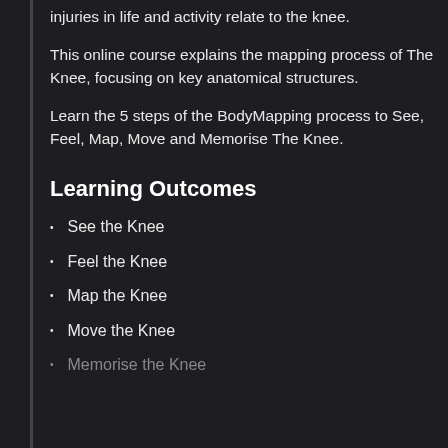injuries in life and activity relate to the knee.
This online course explains the mapping process of The Knee, focusing on key anatomical structures.
Learn the 5 steps of the BodyMapping process to See, Feel, Map, Move and Memorise The Knee.
Learning Outcomes
See the Knee
Feel the Knee
Map the Knee
Move the Knee
Memorise the Knee